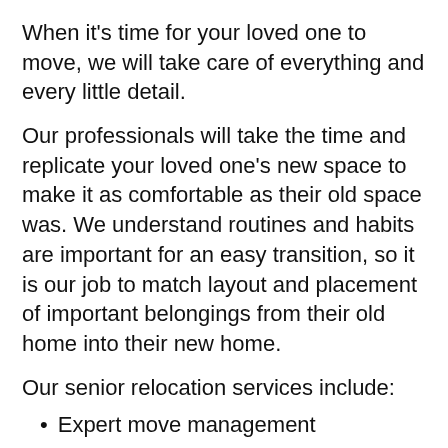When it's time for your loved one to move, we will take care of everything and every little detail.
Our professionals will take the time and replicate your loved one's new space to make it as comfortable as their old space was. We understand routines and habits are important for an easy transition, so it is our job to match layout and placement of important belongings from their old home into their new home.
Our senior relocation services include:
Expert move management
Organize and sort personal belongings
Coordinate the change of address with Social Security, Post Office, Utilities, etc.